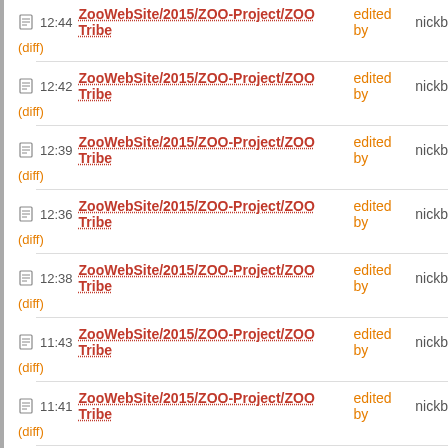12:44 ZooWebSite/2015/ZOO-Project/ZOO Tribe edited by nickb
(diff)
12:42 ZooWebSite/2015/ZOO-Project/ZOO Tribe edited by nickb
(diff)
12:39 ZooWebSite/2015/ZOO-Project/ZOO Tribe edited by nickb
(diff)
12:36 ZooWebSite/2015/ZOO-Project/ZOO Tribe edited by nickb
(diff)
12:38 ZooWebSite/2015/ZOO-Project/ZOO Tribe edited by nickb
(diff)
11:43 ZooWebSite/2015/ZOO-Project/ZOO Tribe edited by nickb
(diff)
11:41 ZooWebSite/2015/ZOO-Project/ZOO Tribe edited by nickb
(diff)
11:40 ZooWebSite/2015/ZOO-Project/ZOO Tribe edited by nickb
(diff)